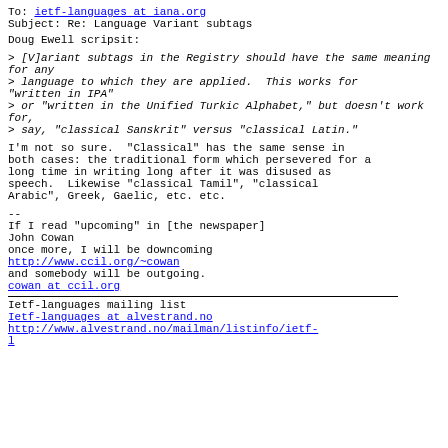To: ietf-languages at iana.org
Subject: Re: Language Variant subtags
Doug Ewell scripsit:
> [V]ariant subtags in the Registry should have the same meaning for any
> language to which they are applied.  This works for "written in IPA"
> or "written in the Unified Turkic Alphabet," but doesn't work for,
> say, "classical Sanskrit" versus "classical Latin."
I'm not so sure.  "Classical" has the same sense in both cases: the traditional form which persevered for a long time in writing long after it was disused as speech.  Likewise "classical Tamil", "classical Arabic", Greek, Gaelic, etc. etc.
--
If I read "upcoming" in [the newspaper]
John Cowan
once more, I will be downcoming
http://www.ccil.org/~cowan
and somebody will be outgoing.
cowan at ccil.org
Ietf-languages mailing list
Ietf-languages at alvestrand.no
http://www.alvestrand.no/mailman/listinfo/ietf-l...